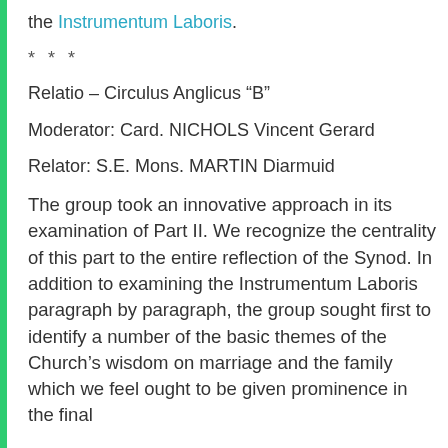the Instrumentum Laboris.
* * *
Relatio – Circulus Anglicus “B”
Moderator: Card. NICHOLS Vincent Gerard
Relator: S.E. Mons. MARTIN Diarmuid
The group took an innovative approach in its examination of Part II. We recognize the centrality of this part to the entire reflection of the Synod. In addition to examining the Instrumentum Laboris paragraph by paragraph, the group sought first to identify a number of the basic themes of the Church’s wisdom on marriage and the family which we feel ought to be given prominence in the final